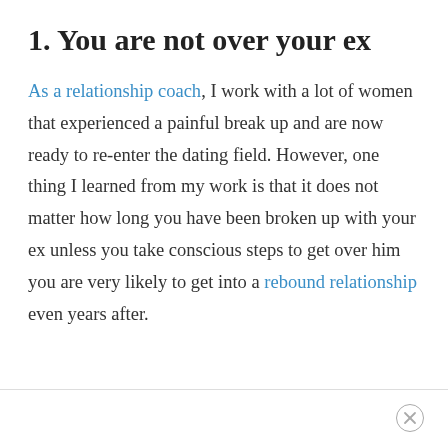1. You are not over your ex
As a relationship coach, I work with a lot of women that experienced a painful break up and are now ready to re-enter the dating field. However, one thing I learned from my work is that it does not matter how long you have been broken up with your ex unless you take conscious steps to get over him you are very likely to get into a rebound relationship even years after.